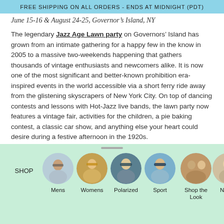FREE SHIPPING ON ALL ORDERS - ENDS AT MIDNIGHT (PDT)
June 15-16 & August 24-25, Governor's Island, NY
The legendary Jazz Age Lawn party on Governors' Island has grown from an intimate gathering for a happy few in the know in 2005 to a massive two-weekends happening that gathers thousands of vintage enthusiasts and newcomers alike. It is now one of the most significant and better-known prohibition era-inspired events in the world accessible via a short ferry ride away from the glistening skyscrapers of New York City. On top of dancing contests and lessons with Hot-Jazz live bands, the lawn party now features a vintage fair, activities for the children, a pie baking contest, a classic car show, and anything else your heart could desire during a festive afternoon in the 1920s.
[Figure (infographic): Bottom navigation row with circular photo icons for SHOP, Mens, Womens, Polarized, Sport, Shop the Look, New...]